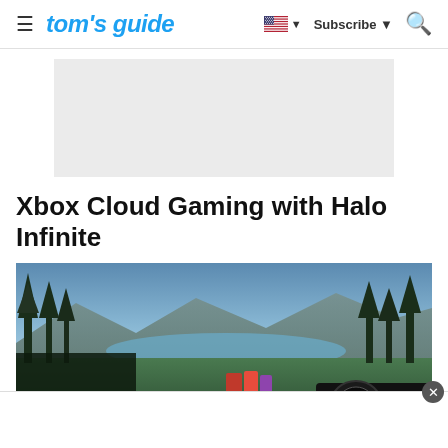tom's guide — Subscribe
[Figure (other): Gray advertisement placeholder box]
Xbox Cloud Gaming with Halo Infinite
[Figure (screenshot): Xbox Cloud Gaming screenshot showing a first-person view of Halo Infinite with trees, mountains, lake, and weapon scope in an outdoor environment]
[Figure (other): White advertisement overlay at the bottom with a close (x) button]